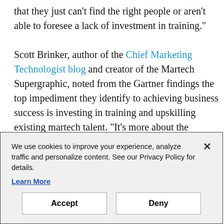that they just can't find the right people or aren't able to foresee a lack of investment in training."

Scott Brinker, author of the Chief Marketing Technologist blog and creator of the Martech Supergraphic, noted from the Gartner findings the top impediment they identify to achieving business success is investing in training and upskilling existing martech talent. "It's more about the untapped potential in their own teams," Brinker said. "Invest in learning and development. Invest in marketing enablement. Give people more freedom to experiment with new ideas. That's how to unlock the real potential of your martech stack."
We use cookies to improve your experience, analyze traffic and personalize content. See our Privacy Policy for details. Learn More